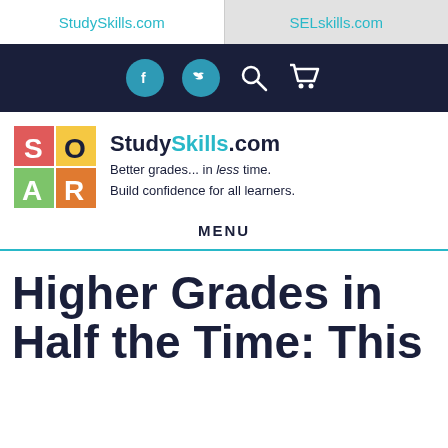StudySkills.com | SELskills.com
[Figure (screenshot): Dark navigation bar with Facebook, Twitter, Search, and Cart icons in teal circles]
[Figure (logo): StudySkills.com SOAR logo grid with colored squares]
StudySkills.com Better grades... in less time. Build confidence for all learners.
MENU
Higher Grades in Half the Time: This